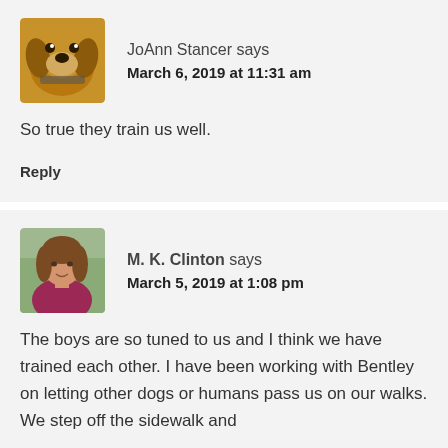[Figure (photo): Avatar photo of a dog (golden/brown colored) facing forward]
JoAnn Stancer says
March 6, 2019 at 11:31 am
So true they train us well.
Reply
[Figure (photo): Avatar photo of a woman with brown hair wearing a pink/magenta top, outdoors]
M. K. Clinton says
March 5, 2019 at 1:08 pm
The boys are so tuned to us and I think we have trained each other. I have been working with Bentley on letting other dogs or humans pass us on our walks. We step off the sidewalk and